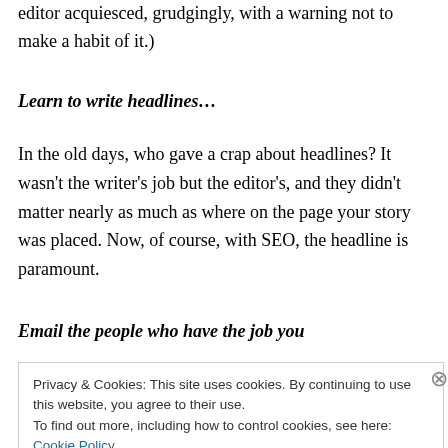editor acquiesced, grudgingly, with a warning not to make a habit of it.)
Learn to write headlines…
In the old days, who gave a crap about headlines? It wasn't the writer's job but the editor's, and they didn't matter nearly as much as where on the page your story was placed. Now, of course, with SEO, the headline is paramount.
Email the people who have the job you
Privacy & Cookies: This site uses cookies. By continuing to use this website, you agree to their use.
To find out more, including how to control cookies, see here: Cookie Policy